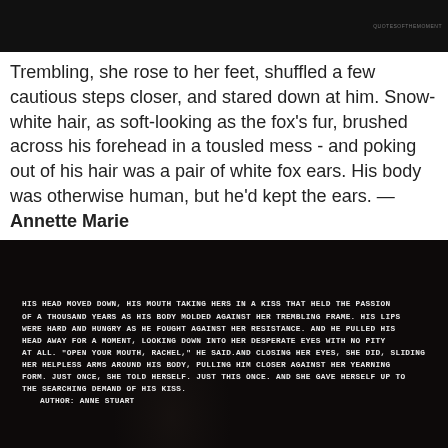[Figure (photo): Dark/black background image strip at the top with faint watermark text in upper right corner]
Trembling, she rose to her feet, shuffled a few cautious steps closer, and stared down at him. Snow-white hair, as soft-looking as the fox's fur, brushed across his forehead in a tousled mess - and poking out of his hair was a pair of white fox ears. His body was otherwise human, but he'd kept the ears. — Annette Marie
[Figure (photo): Dark background image with white uppercase monospace text overlaid containing a romantic passage. Text reads: HIS HEAD MOVED DOWN, HIS MOUTH TAKING HERS IN A KISS THAT HELD THE PASSION OF A THOUSAND YEARS AS HIS BODY MOLDED AGAINST HER TREMBLING FRAME. HIS LIPS WERE HARD AND HUNGRY AS HE FOUGHT AGAINST HER RESISTANCE. AND HE PULLED HIS HEAD AWAY FOR A MOMENT, LOOKING DOWN INTO HER DESPERATE EYES WITH NO PITY AT ALL. "OPEN YOUR MOUTH, RACHEL," HE SAID.AND CLOSING HER EYES, SHE DID, SLIDING HER HELPLESS ARMS AROUND HIS BODY, PULLING HIM CLOSER AGAINST HER YEARNING FORM. JUST ONCE, SHE TOLD HERSELF. JUST THIS ONCE. AND SHE GAVE HERSELF UP TO THE SEARCHING DEMAND OF HIS KISS. AUTHOR: ANNE STUART]